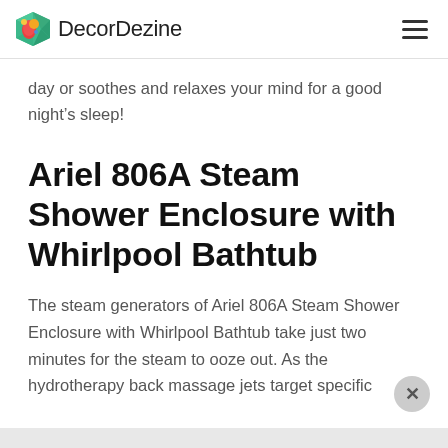DecorDezine
day or soothes and relaxes your mind for a good night’s sleep!
Ariel 806A Steam Shower Enclosure with Whirlpool Bathtub
The steam generators of Ariel 806A Steam Shower Enclosure with Whirlpool Bathtub take just two minutes for the steam to ooze out. As the hydrotherapy back massage jets target specific